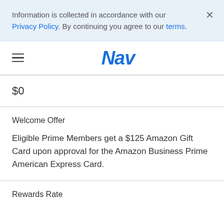Information is collected in accordance with our Privacy Policy. By continuing you agree to our terms.
Nav
$0
Welcome Offer
Eligible Prime Members get a $125 Amazon Gift Card upon approval for the Amazon Business Prime American Express Card.
Rewards Rate